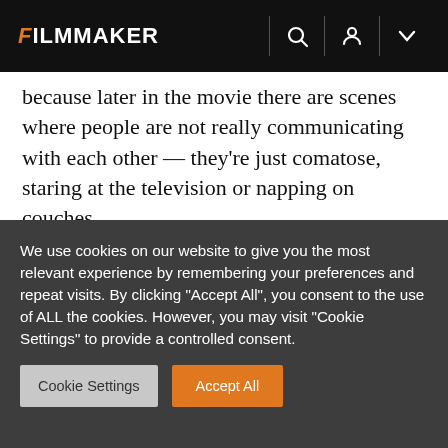FILMMAKER
because later in the movie there are scenes where people are not really communicating with each other — they're just comatose, staring at the television or napping on couches.
One of my favorite shots is just the two brothers. You come from the kitchen where the women are talking and then there is a cut to a shot of Bruce as Woody and his brother
We use cookies on our website to give you the most relevant experience by remembering your preferences and repeat visits. By clicking "Accept All", you consent to the use of ALL the cookies. However, you may visit "Cookie Settings" to provide a controlled consent.